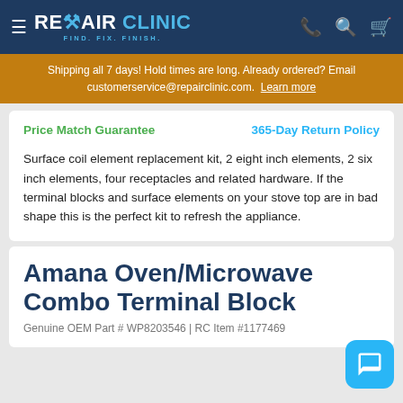REPAIR CLINIC — FIND. FIX. FINISH.
Shipping all 7 days! Hold times are long. Already ordered? Email customerservice@repairclinic.com. Learn more
Price Match Guarantee   365-Day Return Policy
Surface coil element replacement kit, 2 eight inch elements, 2 six inch elements, four receptacles and related hardware. If the terminal blocks and surface elements on your stove top are in bad shape this is the perfect kit to refresh the appliance.
Amana Oven/Microwave Combo Terminal Block
Genuine OEM Part # WP8203546 | RC Item #1177469